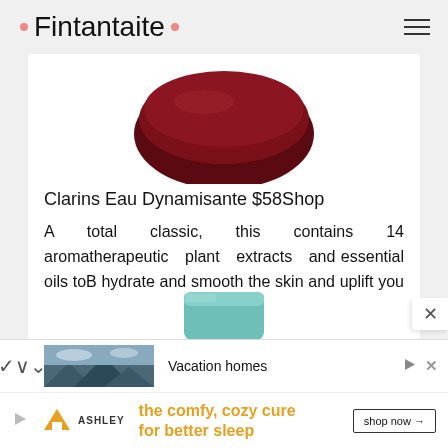Fintantaite
[Figure (photo): Top portion of a dark red/maroon round product container, partially visible at top of white card]
Clarins Eau Dynamisante $58Shop
A total classic, this contains 14 aromatherapeutic plant extracts and essential oils toB hydrate and smooth the skin and uplift you mentally. Patchouli is the lingering scent, but it's packed with citrus and herbs like rosemary and thyme too.B
[Figure (photo): Teal/turquoise cylindrical product container, partially visible at bottom of card]
[Figure (screenshot): Advertisement banner: Vacation homes with mountain landscape photo, play and close icons]
[Figure (screenshot): Ashley Furniture advertisement: orange triangle logo, 'the comfy, cozy cure for better sleep' text, 'shop now' button]